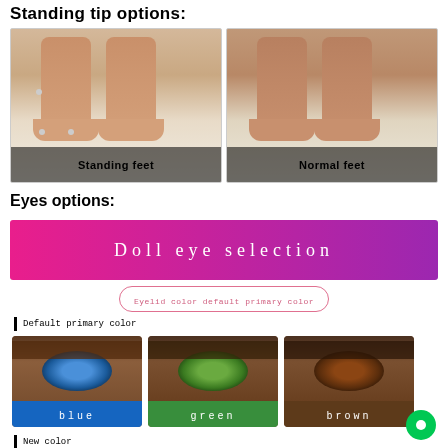Standing tip options:
[Figure (photo): Two side-by-side photos of doll legs/feet. Left photo labeled 'Standing feet' showing feet with small bolts/studs. Right photo labeled 'Normal feet' showing feet without studs.]
Eyes options:
[Figure (infographic): Doll eye selection graphic with pink-to-purple gradient banner reading 'Doll eye selection', a pink oval button saying 'Eyelid color default primary color', a section labeled 'Default primary color' showing three eye photos labeled blue, green, and brown, and a 'New color' label at the bottom.]